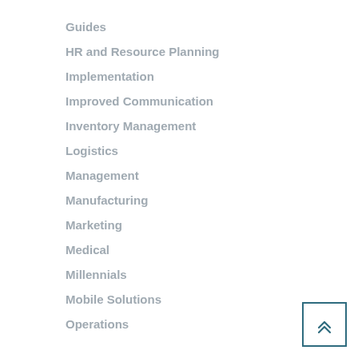Guides
HR and Resource Planning
Implementation
Improved Communication
Inventory Management
Logistics
Management
Manufacturing
Marketing
Medical
Millennials
Mobile Solutions
Operations